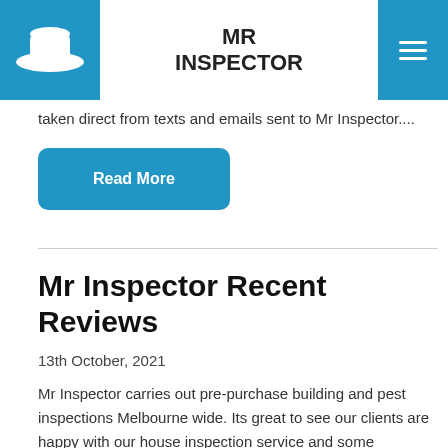MR INSPECTOR
taken direct from texts and emails sent to Mr Inspector....
Read More
Mr Inspector Recent Reviews
13th October, 2021
Mr Inspector carries out pre-purchase building and pest inspections Melbourne wide.  Its great to see our clients are happy with our house inspection service and some